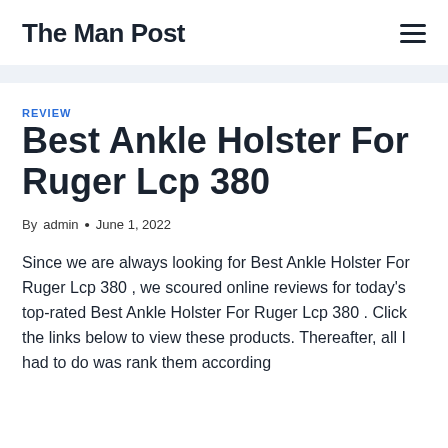The Man Post
REVIEW
Best Ankle Holster For Ruger Lcp 380
By admin • June 1, 2022
Since we are always looking for Best Ankle Holster For Ruger Lcp 380 , we scoured online reviews for today's top-rated Best Ankle Holster For Ruger Lcp 380 . Click the links below to view these products. Thereafter, all I had to do was rank them according